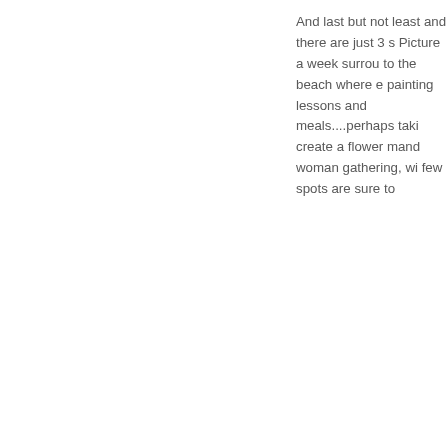And last but not least and there are just 3 s... Picture a week surrou... to the beach where e... painting lessons and meals....perhaps taki... create a flower mand... woman gathering, wi... few spots are sure to...
[Figure (photo): Interior photo showing wooden roof beams/rafters of a building, with warm brown tones. The structural wooden beams cross diagonally. Light string lights visible at bottom edge.]